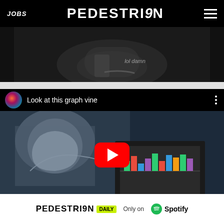JOBS  PEDESTRIAN  ☰
[Figure (screenshot): Video screenshot from inside a car, showing a steering wheel and hand. Text overlay reads 'lol damn']
[Figure (screenshot): YouTube video embed titled 'Look at this graph vine' showing a person holding up a graph/chart, with a YouTube play button overlay. Avatar circle shown top-left.]
[Figure (screenshot): Advertisement banner for PEDESTRIAN DAILY podcast, Only on Spotify]